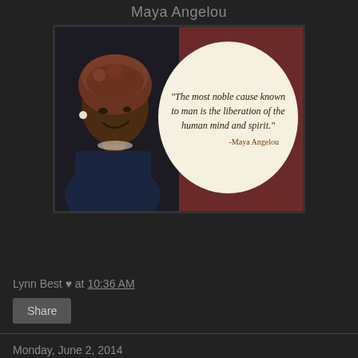Maya Angelou
[Figure (photo): Photo of Maya Angelou with a speech bubble quote: 'The most noble cause known to man is the liberation of the human mind and spirit.' -Maya Angelou, on a dark red background.]
Lynn Best ♥ at 10:36 AM
Share
Monday, June 2, 2014